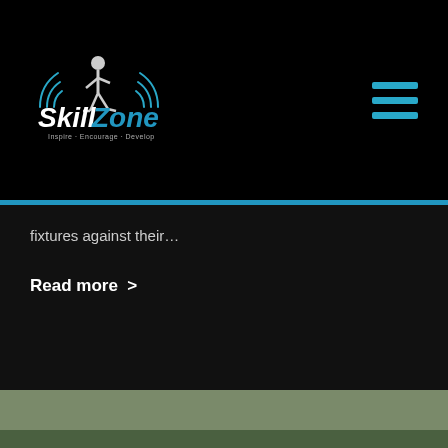[Figure (logo): SkillZone logo with footballer silhouette and tagline Inspire Encourage Develop]
fixtures against their…
Read more  >
[Figure (photo): Two youth footballers in blue jerseys seen from behind, watching a coach standing on an artificial turf football pitch]